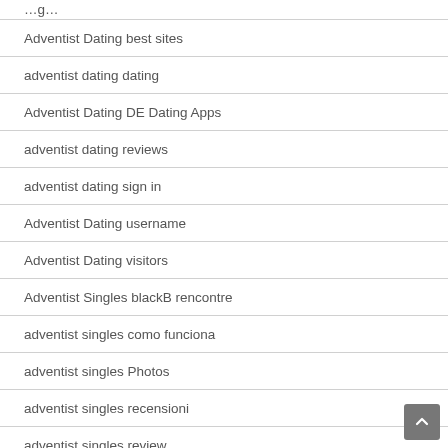Adventist Dating best sites
adventist dating dating
Adventist Dating DE Dating Apps
adventist dating reviews
adventist dating sign in
Adventist Dating username
Adventist Dating visitors
Adventist Singles blackB rencontre
adventist singles como funciona
adventist singles Photos
adventist singles recensioni
adventist singles review